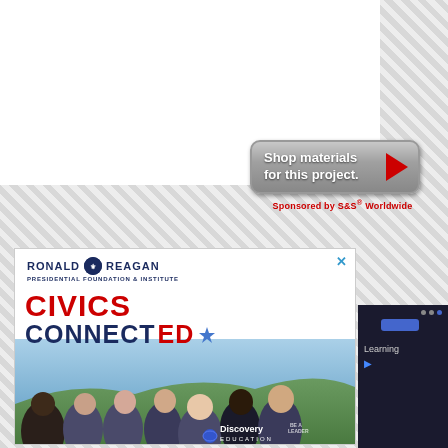[Figure (screenshot): Shop materials for this project button with red play arrow, sponsored by S&S Worldwide]
[Figure (screenshot): Ronald Reagan Presidential Foundation & Institute advertisement for Civics Connected program featuring group photo of students and Discovery Education logo]
[Figure (screenshot): Partial dark panel showing Learning video interface]